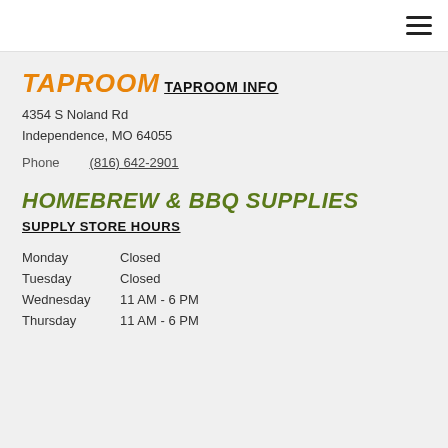≡ (hamburger menu icon)
TAPROOM
TAPROOM INFO
4354 S Noland Rd
Independence, MO 64055
Phone   (816) 642-2901
HOMEBREW & BBQ SUPPLIES
SUPPLY STORE HOURS
Monday      Closed
Tuesday     Closed
Wednesday  11 AM - 6 PM
Thursday    11 AM - 6 PM